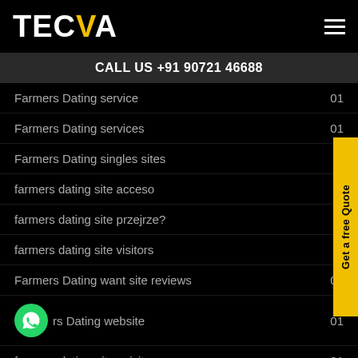TECVA
CALL US +91 90721 46688
Farmers Dating service  01
Farmers Dating services  01
Farmers Dating singles sites
farmers dating site acceso
farmers dating site przejrze?
farmers dating site visitors
Farmers Dating want site reviews  01
Farmers Dating website  01
farmers-dating-sites visitors  01